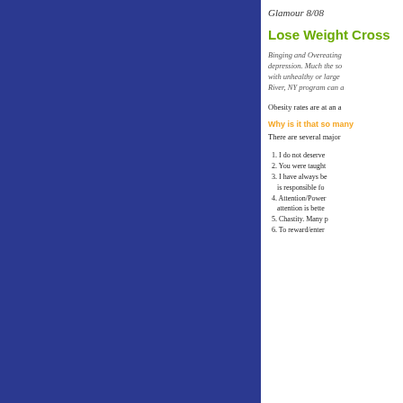Glamour 8/08
Lose Weight Cross
Binging and Overeating depression. Much the so with unhealthy or large River, NY program can a
Obesity rates are at an a
Why is it that so many
There are several major
1. I do not deserve
2. You were taught
3. I have always be is responsible fo
4. Attention/Power attention is bette
5. Chastity. Many p
6. To reward/enter